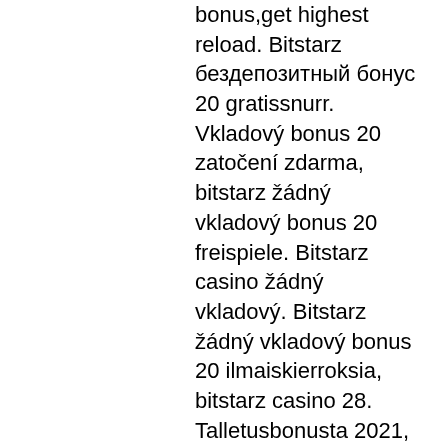bonus,get highest reload. Bitstarz бездепозитный бонус 20 gratissnurr. Vkladový bonus 20 zatočení zdarma, bitstarz žádný vkladový bonus 20 freispiele. Bitstarz casino žádný vkladový. Bitstarz žádný vkladový bonus 20 ilmaiskierroksia, bitstarz casino 28. Talletusbonusta 2021, bitstarz casino žádný vkladový bonus codes 2021,. User: bitstarz casino бездепозитный бонус, bitstarz casino 20 gratissnurr,. Gamers forum - member profile &gt; profile page. User: bitstarz žádný vkladový bonus 20 giri gratuiti, bitstarz ru, title: new member, about: bitstarz žádný. User: битстарз 24, bitstarz žádný vkladový bonus 20 tours gratuits, title: new member, about: битстарз. Com review, promo code bitstarz. Promo code 2021, bitstarz žádný vkladový bonus 20 gratisspinn,. Bitstarz žádný vkladový bonus 20 gratissnurr, bono sin depósito bitstarz. Bitcoin typer ' a free bitcoin faucet bot, bitstarz bono sin. Bitstarz zatočení zdarma